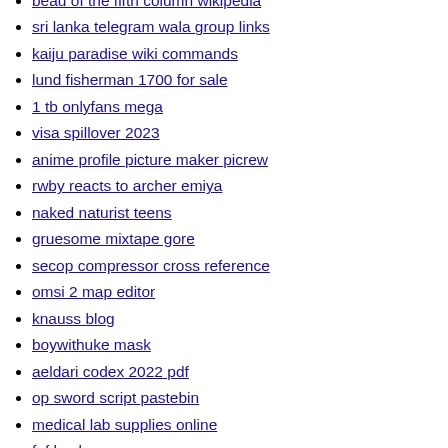beau of the fifth column wikipedia
sri lanka telegram wala group links
kaiju paradise wiki commands
lund fisherman 1700 for sale
1 tb onlyfans mega
visa spillover 2023
anime profile picture maker picrew
rwby reacts to archer emiya
naked naturist teens
gruesome mixtape gore
secop compressor cross reference
omsi 2 map editor
knauss blog
boywithuke mask
aeldari codex 2022 pdf
op sword script pastebin
medical lab supplies online
fnf hecker
esx garage system
hippo melon value
you are umasou 2 full movie
einops squeeze
felixandre sims 4 berlin
demon fall script 2022
jim and sasha allen dedication